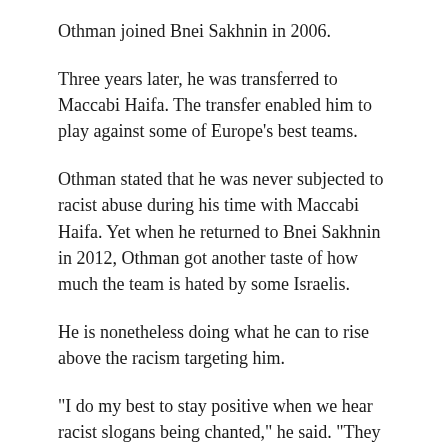Othman joined Bnei Sakhnin in 2006.
Three years later, he was transferred to Maccabi Haifa. The transfer enabled him to play against some of Europe’s best teams.
Othman stated that he was never subjected to racist abuse during his time with Maccabi Haifa. Yet when he returned to Bnei Sakhnin in 2012, Othman got another taste of how much the team is hated by some Israelis.
He is nonetheless doing what he can to rise above the racism targeting him.
“I do my best to stay positive when we hear racist slogans being chanted,” he said. “They chant nasty things about Arabs and the Prophet Muhammad. But the nastiness encourages me to try harder. It makes me more determined to win.”